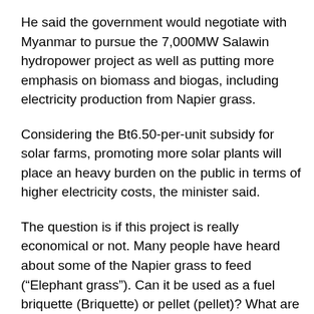He said the government would negotiate with Myanmar to pursue the 7,000MW Salawin hydropower project as well as putting more emphasis on biomass and biogas, including electricity production from Napier grass.
Considering the Bt6.50-per-unit subsidy for solar farms, promoting more solar plants will place an heavy burden on the public in terms of higher electricity costs, the minister said.
The question is if this project is really economical or not. Many people have heard about some of the Napier grass to feed (“Elephant grass”). Can it be used as a fuel briquette (Briquette) or pellet (pellet)? What are the pros and cons of napier grass?
Napier grass really worth the fuel used to produce energy or not ? Depends on several factors. Particular grass species (Pakchong 1, Emperor, etc. ), which can grow well in the tropical climate, which is a key feedstock, should be...